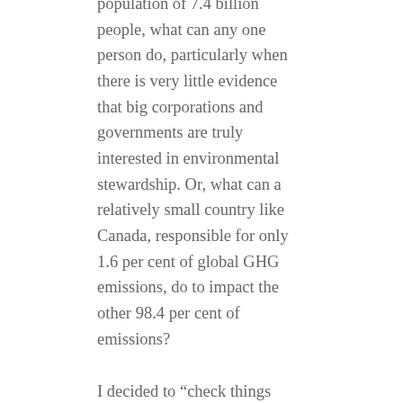population of 7.4 billion people, what can any one person do, particularly when there is very little evidence that big corporations and governments are truly interested in environmental stewardship. Or, what can a relatively small country like Canada, responsible for only 1.6 per cent of global GHG emissions, do to impact the other 98.4 per cent of emissions?
I decided to “check things out”, and share my findings with readers.
Environmentalism
Throughout the decades, the nature of environmentalism has changed from an initial focus on identification of workplace hazards, to identification of food contamination hazards to hazards introduced into the soils and air we breathe. This was the era of Rachel Carson whose 1962 book